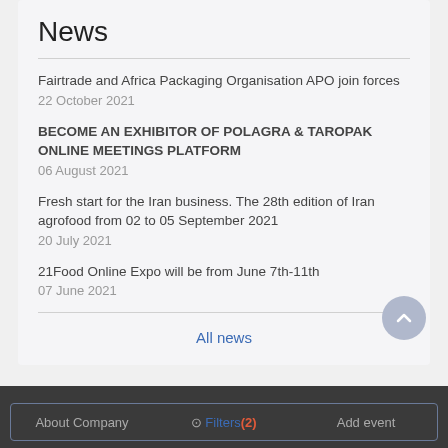News
Fairtrade and Africa Packaging Organisation APO join forces
22 October 2021
BECOME AN EXHIBITOR OF POLAGRA & TAROPAK ONLINE MEETINGS PLATFORM
06 August 2021
Fresh start for the Iran business. The 28th edition of Iran agrofood from 02 to 05 September 2021
20 July 2021
21Food Online Expo will be from June 7th-11th
07 June 2021
All news
About Company   Filters (2)   Add event